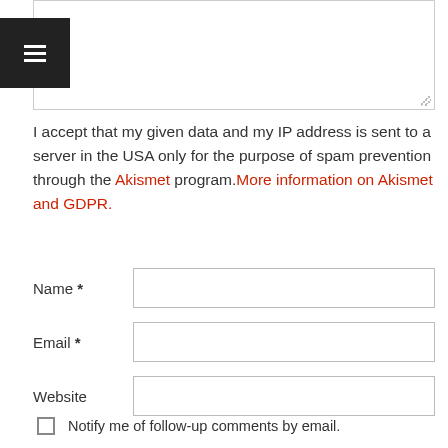[Figure (screenshot): Text area input box (comment box), partially visible at top of page]
I accept that my given data and my IP address is sent to a server in the USA only for the purpose of spam prevention through the Akismet program. More information on Akismet and GDPR.
Name *
Email *
Website
Notify me of follow-up comments by email.
Notify me of new posts by email.